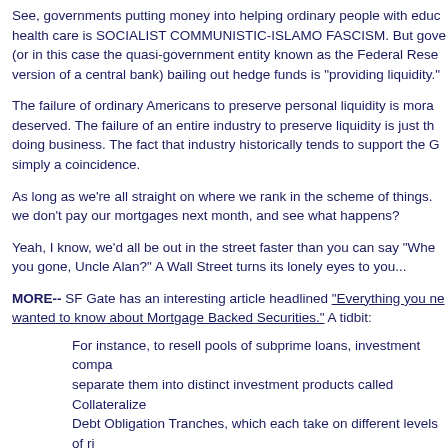See, governments putting money into helping ordinary people with education, health care is SOCIALIST COMMUNISTIC-ISLAMO FASCISM. But governments (or in this case the quasi-government entity known as the Federal Reserve, our version of a central bank) bailing out hedge funds is "providing liquidity."
The failure of ordinary Americans to preserve personal liquidity is morally deserved. The failure of an entire industry to preserve liquidity is just the cost of doing business. The fact that industry historically tends to support the G... simply a coincidence.
As long as we're all straight on where we rank in the scheme of things. W... we don't pay our mortgages next month, and see what happens?
Yeah, I know, we'd all be out in the street faster than you can say "Where you gone, Uncle Alan?" A Wall Street turns its lonely eyes to you...
MORE-- SF Gate has an interesting article headlined "Everything you ne... wanted to know about Mortgage Backed Securities." A tidbit:
For instance, to resell pools of subprime loans, investment compa... separate them into distinct investment products called Collateralize... Debt Obligation Tranches, which each take on different levels of ri...
The "equity" tranch takes on the highest level of risk and pays the highest interest. If any of the homes in a pool of loans is foreclosed upon, this tranch absorbs the losses first.